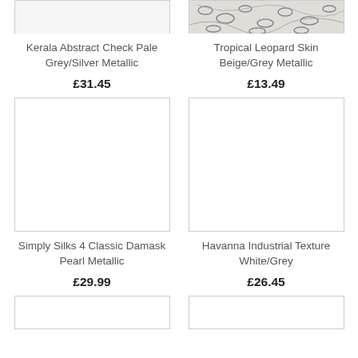[Figure (photo): Partial top image of Kerala Abstract Check Pale Grey/Silver Metallic wallpaper]
[Figure (photo): Partial top image of Tropical Leopard Skin Beige/Grey Metallic wallpaper with animal print pattern visible]
Kerala Abstract Check Pale Grey/Silver Metallic
£31.45
Tropical Leopard Skin Beige/Grey Metallic
£13.49
[Figure (photo): White/blank product image box for Simply Silks 4 Classic Damask Pearl Metallic]
[Figure (photo): White/blank product image box for Havanna Industrial Texture White/Grey]
Simply Silks 4 Classic Damask Pearl Metallic
£29.99
Havanna Industrial Texture White/Grey
£26.45
[Figure (photo): Partial bottom product image box (cropped)]
[Figure (photo): Partial bottom product image box (cropped)]